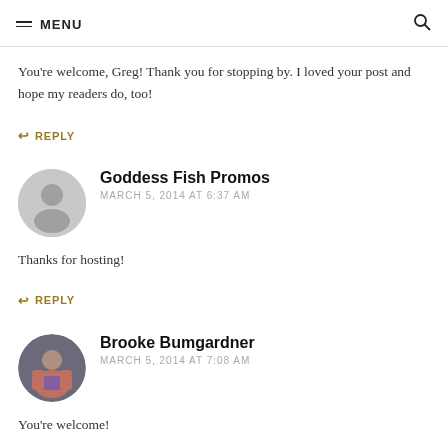MENU
You're welcome, Greg! Thank you for stopping by. I loved your post and hope my readers do, too!
↩ REPLY
Goddess Fish Promos
MARCH 5, 2014 AT 6:37 AM
Thanks for hosting!
↩ REPLY
Brooke Bumgardner
MARCH 5, 2014 AT 7:08 AM
You're welcome!